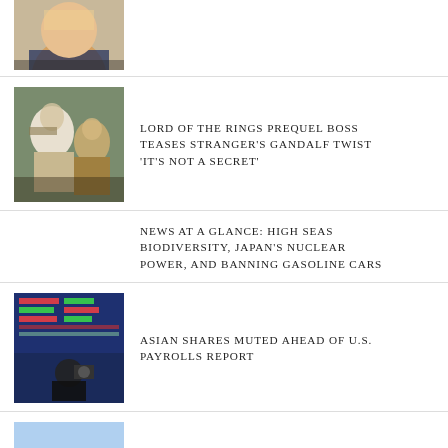[Figure (photo): Partial photo of a person, cropped at top of page]
LORD OF THE RINGS PREQUEL BOSS TEASES STRANGER'S GANDALF TWIST 'IT'S NOT A SECRET'
[Figure (photo): Two bearded figures from Lord of the Rings prequel]
NEWS AT A GLANCE: HIGH SEAS BIODIVERSITY, JAPAN'S NUCLEAR POWER, AND BANNING GASOLINE CARS
ASIAN SHARES MUTED AHEAD OF U.S. PAYROLLS REPORT
[Figure (photo): Stock market board with Asian trading data]
ONCE IN THE DOLDRUMS, FLORIDA COAST HUMS WITH SPACE LAUNCHES
[Figure (photo): Crowd of people at Florida coast space launch event]
REVIEW – ROLLERDROME (PS5) |